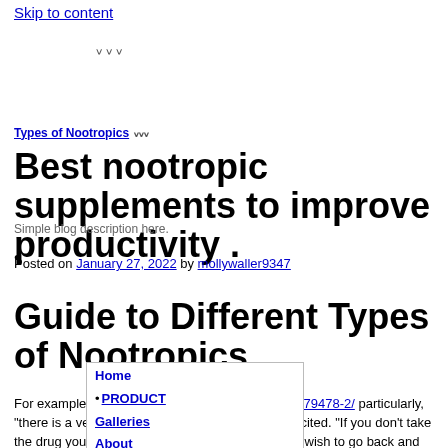Skip to content
Types of Nootropics
Best nootropic supplements to improve productivity .
Simple blog description here.
Posted on January 27, 2022 by mollywaller9347
Guide to Different Types of Nootropics
Home
PRODUCT
Galleries
About
Contact
For example, Https://Rajeshmishraphotography.In/79478-2/ particularly, "there is a very high threat of dependancy," Guire cited. "If you don't take the drug you will certainly feel dreadful, you would wish to go back and take it once again, you would want to take more of it, so there is a component of addiction too."Many that on a regular basis take these medications might risk permanently changing